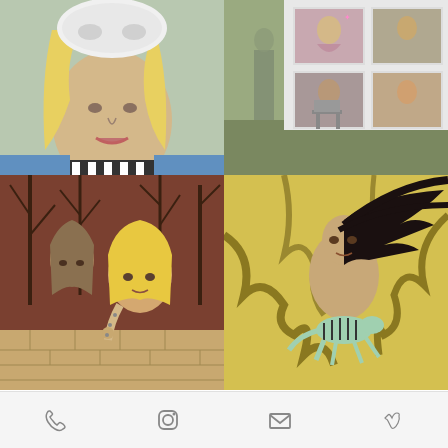[Figure (photo): Top-left: painting of a woman with blonde hair and white mask/hat, close-up face]
[Figure (photo): Top-right: gallery interior with framed paintings of stylized female figures on white wall]
[Figure (photo): Bottom-left: painting of two women with blonde hair in front of bare trees and stone wall]
[Figure (photo): Bottom-right: painting of a figure with long black hair and a striped animal on yellow background with tree branches]
GRETCHEN GAMMELL
STATEMENT
A couple decades of painting behind me and these days I find I know less about the work I make than my younger self claimed.
Phone | Instagram | Email | Vimeo icons